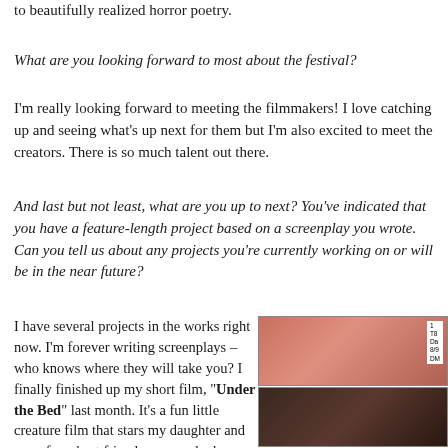to beautifully realized horror poetry.
What are you looking forward to most about the festival?
I'm really looking forward to meeting the filmmakers! I love catching up and seeing what's up next for them but I'm also excited to meet the creators. There is so much talent out there.
And last but not least, what are you up to next? You've indicated that you have a feature-length project based on a screenplay you wrote. Can you tell us about any projects you're currently working on or will be in the near future?
I have several projects in the works right now. I'm forever writing screenplays – who knows where they will take you? I finally finished up my short film, "Under the Bed" last month. It's a fun little creature film that stars my daughter and one of my best friends – so we had a great time making it. I'm busy entering it into festivals right now. We wrapped on my latest short, "Teaser" last weekend. It's a very lush and poetic burlesque-themed short and my biggest production so far. We have a hard deadline for getting it through post, so you can expect to see it at festivals soon! I am elated to shoot
[Figure (photo): Two stacked photos from a film set or production. Top photo shows pink/warm lighting with a slate board visible. Bottom photo shows a darker scene with equipment.]